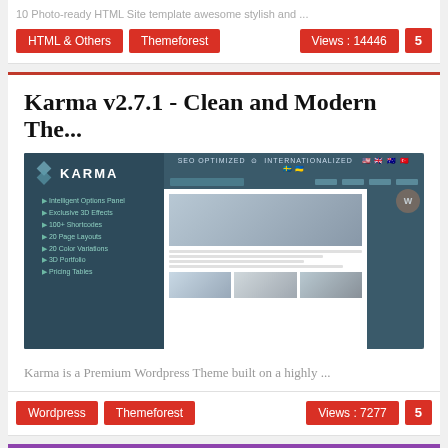10 Photo-ready HTML Site template awesome stylish and ...
HTML & Others | Themeforest | Views: 14446 | 5
Karma v2.7.1 - Clean and Modern The...
[Figure (screenshot): Screenshot of Karma WordPress theme showing dark teal sidebar with logo and features list, and a website preview mockup on the right]
Karma is a Premium Wordpress Theme built on a highly ...
Wordpress | Themeforest | Views: 7277 | 5